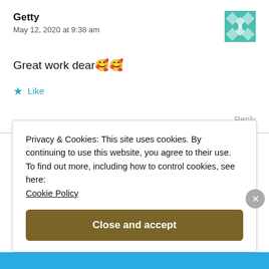Getty
May 12, 2020 at 9:38 am
Great work dear🥰🥰
★ Like
Reply
Privacy & Cookies: This site uses cookies. By continuing to use this website, you agree to their use.
To find out more, including how to control cookies, see here: Cookie Policy
Close and accept